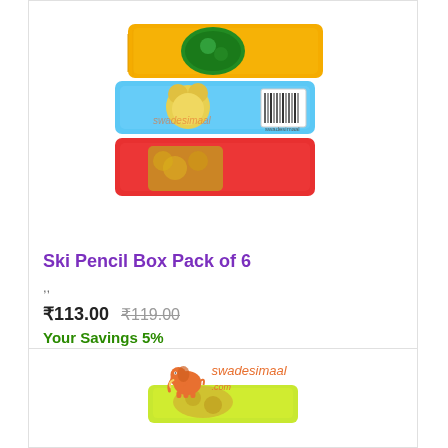[Figure (photo): Three stacked colorful pencil boxes with cartoon character stickers. Top box is yellow/orange with green character sticker, middle box is blue with Mickey Mouse theme and barcode label, bottom box is red with character sticker.]
Ski Pencil Box Pack of 6
,,
₹113.00  ₹119.00
Your Savings 5%
[Figure (logo): Swadesimaal.com logo with orange elephant illustration and stylized text]